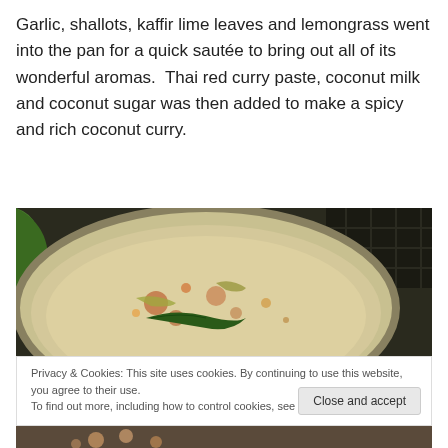Garlic, shallots, kaffir lime leaves and lemongrass went into the pan for a quick sautée to bring out all of its wonderful aromas.  Thai red curry paste, coconut milk and coconut sugar was then added to make a spicy and rich coconut curry.
[Figure (photo): A close-up photo of a pan/wok with sautéed garlic, shallots, kaffir lime leaves and lemongrass ingredients, seen from above, with a green lid visible to the upper left.]
Privacy & Cookies: This site uses cookies. By continuing to use this website, you agree to their use.
To find out more, including how to control cookies, see here: Cookie Policy
[Figure (photo): Bottom portion of another food photo, partially visible.]